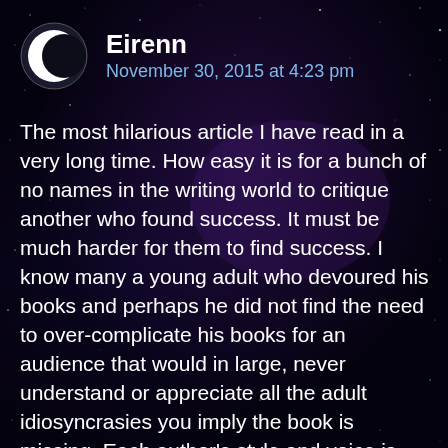[Figure (illustration): Dark space/night sky background with stars and purple nebula glow]
Eirenn
November 30, 2015 at 4:23 pm
The most hilarious article I have read in a very long time. How easy it is for a bunch of no names in the writing world to critique another who found success. It must be much harder for them to find success. I know many a young adult who devoured his books and perhaps he did not find the need to over-complicate his books for an audience that would in large, never understand or appreciate all the adult idiosyncrasies you imply the book is missing. Each author's style and voice is unique and I do not ascribe to never breaking haughty ridiculous